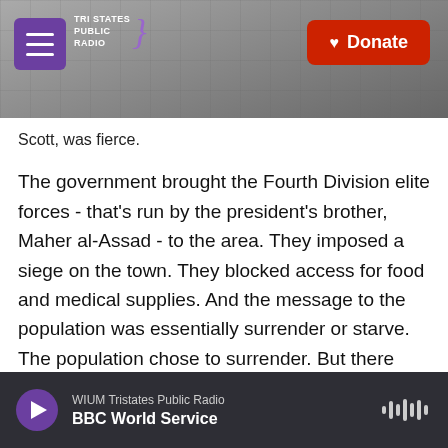Tri States Public Radio — Donate
Scott, was fierce.
The government brought the Fourth Division elite forces - that's run by the president's brother, Maher al-Assad - to the area. They imposed a siege on the town. They blocked access for food and medical supplies. And the message to the population was essentially surrender or starve. The population chose to surrender. But there were several injured before that happened. There's now a new Russian-brokered deal, but it's very much on the government's terms.
WIUM Tristates Public Radio
BBC World Service